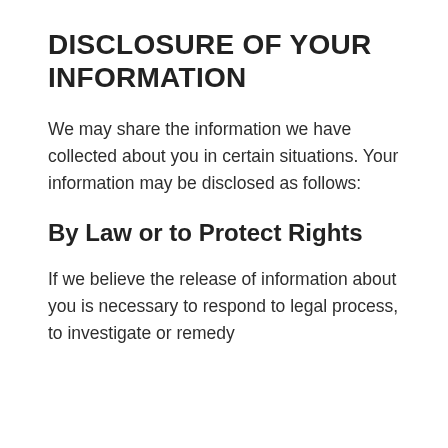DISCLOSURE OF YOUR INFORMATION
We may share the information we have collected about you in certain situations. Your information may be disclosed as follows:
By Law or to Protect Rights
If we believe the release of information about you is necessary to respond to legal process, to investigate or remedy